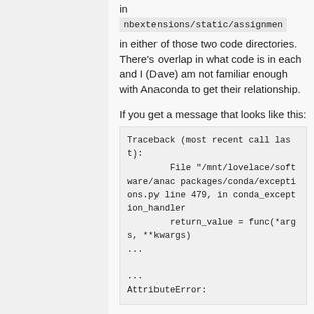in
nbextensions/static/assignmen
in either of those two code directories. There's overlap in what code is in each and I (Dave) am not familiar enough with Anaconda to get their relationship.
If you get a message that looks like this:
Traceback (most recent call last):
        File "/mnt/lovelace/software/anac packages/conda/exceptions.py line 479, in conda_exception_handler
        return_value = func(*args, **kwargs)
...
...
AttributeError: